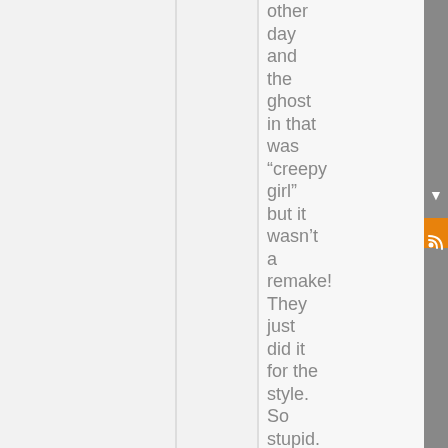other day and the ghost in that was "creepy girl" but it wasn't a remake! They just did it for the style. So stupid.

A live action Akira movie
[Figure (other): Right sidebar with 'follow' label (vertical text), arrow, and RSS feed icon in orange]